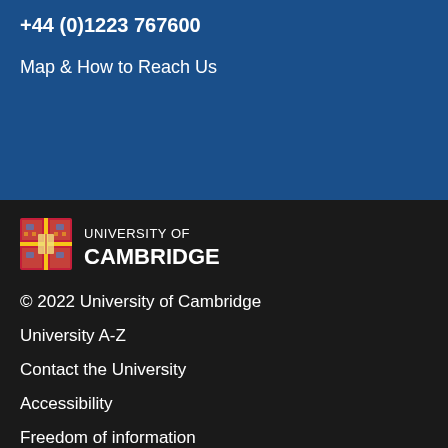+44 (0)1223 767600
Map & How to Reach Us
[Figure (logo): University of Cambridge shield logo with text UNIVERSITY OF CAMBRIDGE]
© 2022 University of Cambridge
University A-Z
Contact the University
Accessibility
Freedom of information
Terms and conditions
Study at Cambridge